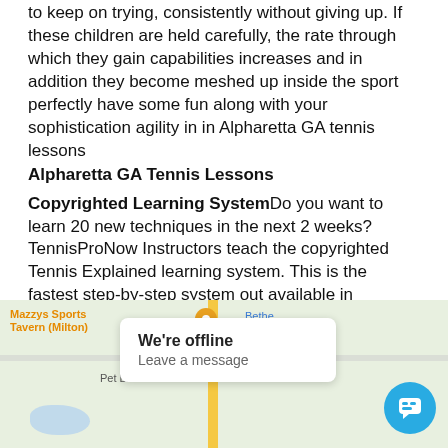to keep on trying, consistently without giving up. If these children are held carefully, the rate through which they gain capabilities increases and in addition they become meshed up inside the sport perfectly have some fun along with your sophistication agility in in Alpharetta GA tennis lessons
Alpharetta GA Tennis Lessons
Copyrighted Learning System Do you want to learn 20 new techniques in the next 2 weeks? TennisProNow Instructors teach the copyrighted Tennis Explained learning system. This is the fastest step-by-step system out available in Alpharetta GA.
[Figure (map): Google Maps screenshot showing local area near Alpharetta GA with a chat widget overlay saying 'We're offline / Leave a message' and a blue chat button.]